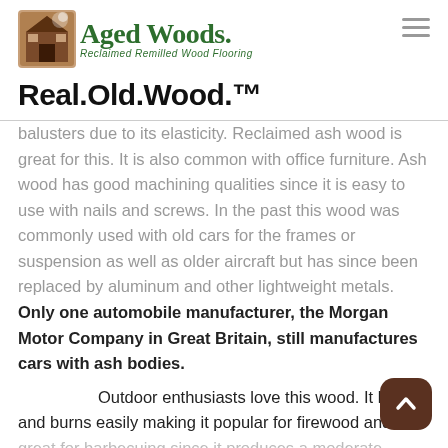[Figure (logo): Aged Woods logo with barn image and text 'Aged Woods. Reclaimed Remilled Wood Flooring']
Real.Old.Wood.™
balusters due to its elasticity. Reclaimed ash wood is great for this. It is also common with office furniture. Ash wood has good machining qualities since it is easy to use with nails and screws. In the past this wood was commonly used with old cars for the frames or suspension as well as older aircraft but has since been replaced by aluminum and other lightweight metals. Only one automobile manufacturer, the Morgan Motor Company in Great Britain, still manufactures cars with ash bodies.
Outdoor enthusiasts love this wood. It lig… and burns easily making it popular for firewood and it is great for barbecuing since it produces a moderate and…